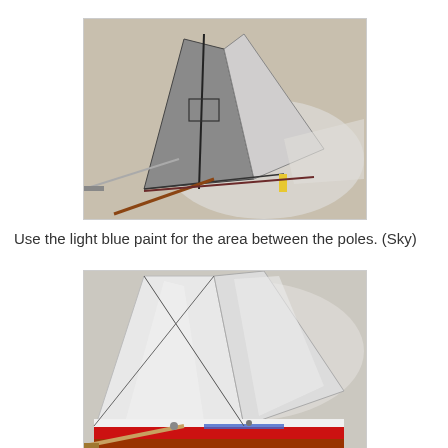[Figure (photo): A model sailboat with metallic silver sails and visible poles/masts, placed on a workbench with a paintbrush nearby and plastic sheeting underneath. The sails appear to be made of metallic or foil material.]
Use the light blue paint for the area between the poles. (Sky)
[Figure (photo): Close-up of a model sailboat showing white/silver sails and a red and white striped hull, with a paintbrush visible at the lower left, placed on plastic sheeting.]